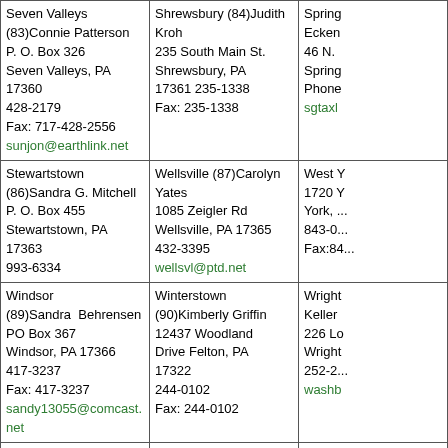| Seven Valleys (83)Connie Patterson
P. O. Box 326
Seven Valleys, PA 17360
428-2179
Fax: 717-428-2556
sunjon@earthlink.net | Shrewsbury (84)Judith Kroh
235 South Main St.
Shrewsbury, PA
17361 235-1338
Fax: 235-1338 | Spring...
Ecken...
46 N....
Spring...
Phone...
sgtaxl... |
| Stewartstown (86)Sandra G. Mitchell
P. O. Box 455
Stewartstown, PA 17363
993-6334 | Wellsville (87)Carolyn Yates
1085 Zeigler Rd
Wellsville, PA 17365
432-3395
wellsvl@ptd.net | West Y...
1720 Y...
York, ...
843-0...
Fax:84... |
| Windsor (89)Sandra  Behrensen
PO Box 367
Windsor, PA 17366
417-3237
Fax: 417-3237
sandy13055@comcast.net | Winterstown (90)Kimberly Griffin
12437 Woodland Drive Felton, PA 17322
244-0102
Fax: 244-0102 | Wright...
Keller...
226 Lo...
Wright...
252-2...
washb... |